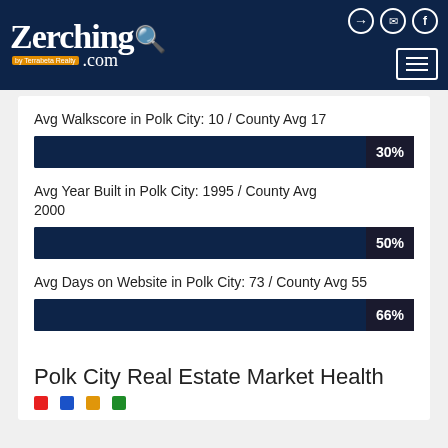Zerching by Terrabeta Realty .com
Avg Walkscore in Polk City: 10 / County Avg 17
[Figure (bar-chart): Walkscore]
Avg Year Built in Polk City: 1995 / County Avg 2000
[Figure (bar-chart): Year Built]
Avg Days on Website in Polk City: 73 / County Avg 55
[Figure (bar-chart): Days on Website]
Polk City Real Estate Market Health